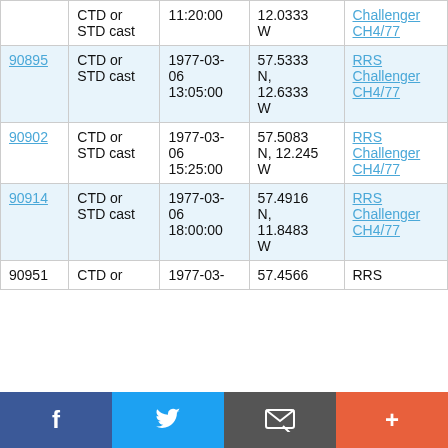| ID | Type | Date/Time | Location | Cruise |
| --- | --- | --- | --- | --- |
|  | CTD or STD cast | 11:20:00 | 12.0333 W | RRS Challenger CH4/77 |
| 90895 | CTD or STD cast | 1977-03-06 13:05:00 | 57.5333 N, 12.6333 W | RRS Challenger CH4/77 |
| 90902 | CTD or STD cast | 1977-03-06 15:25:00 | 57.5083 N, 12.245 W | RRS Challenger CH4/77 |
| 90914 | CTD or STD cast | 1977-03-06 18:00:00 | 57.4916 N, 11.8483 W | RRS Challenger CH4/77 |
| 90951 | CTD or | 1977-03- | 57.4566 | RRS |